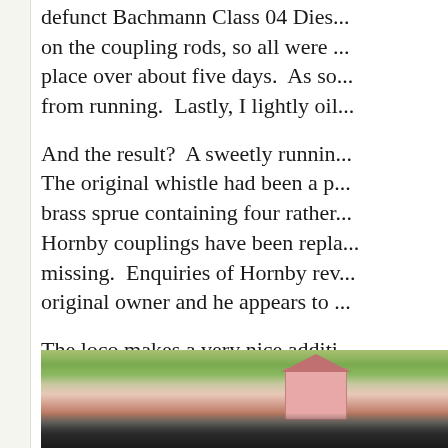defunct Bachmann Class 04 Dies... on the coupling rods, so all were ... place over about five days.  As so... from running.  Lastly, I lightly oil...
And the result?  A sweetly runnin... The original whistle had been a p... brass sprue containing four rather... Hornby couplings have been repla... missing.  Enquiries of Hornby rev... original owner and he appears to ...
The loco makes a very nice additi...
[Figure (photo): Photograph of a model steam locomotive, partially visible at the bottom, with a scenic model railway background showing green hills and a pink building.]